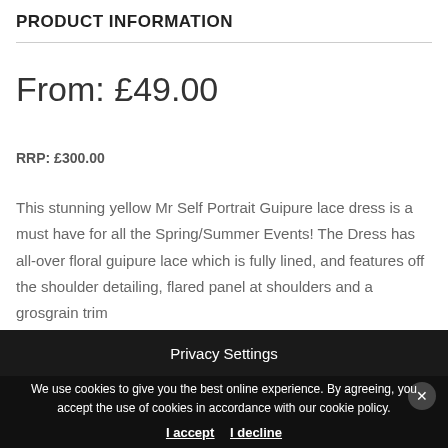PRODUCT INFORMATION
From: £49.00
RRP: £300.00
This stunning yellow Mr Self Portrait Guipure lace dress is a must have for all the Spring/Summer Events! The Dress has all-over floral guipure lace which is fully lined, and features off the shoulder detailing, flared panel at shoulders and a grosgrain trim
Privacy Settings
We use cookies to give you the best online experience. By agreeing, you accept the use of cookies in accordance with our cookie policy.
I accept  I decline